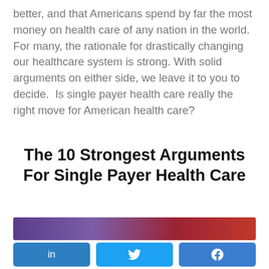better, and that Americans spend by far the most money on health care of any nation in the world. For many, the rationale for drastically changing our healthcare system is strong. With solid arguments on either side, we leave it to you to decide.  Is single payer health care really the right move for American health care?
The 10 Strongest Arguments For Single Payer Health Care
[Figure (photo): Partial image of what appears to be a red and purple fabric or clothing item, shown as a banner strip]